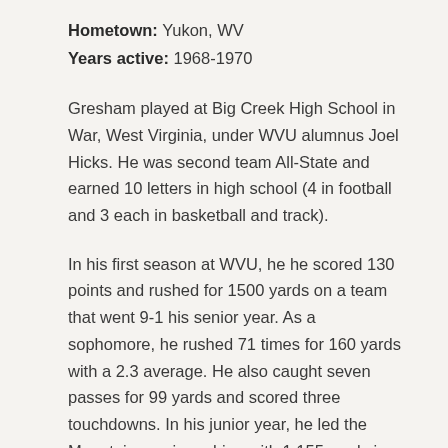Hometown: Yukon, WV
Years active: 1968-1970
Gresham played at Big Creek High School in War, West Virginia, under WVU alumnus Joel Hicks. He was second team All-State and earned 10 letters in high school (4 in football and 3 each in basketball and track).
In his first season at WVU, he he scored 130 points and rushed for 1500 yards on a team that went 9-1 his senior year. As a sophomore, he rushed 71 times for 160 yards with a 2.3 average. He also caught seven passes for 99 yards and scored three touchdowns. In his junior year, he led the Mountaineers in rushing with 1,155 yards in 206 attempts, a new season record. He scored a total of 10 touchdowns, nine of which were rushing, and